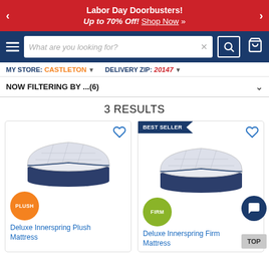Labor Day Doorbusters! Up to 70% Off! Shop Now »
Navigation bar with search: What are you looking for?
MY STORE: CASTLETON ▼   DELIVERY ZIP: 20147 ▼
NOW FILTERING BY ...(6)
3 RESULTS
[Figure (screenshot): Deluxe Innerspring Plush Mattress product card with PLUSH badge]
Deluxe Innerspring Plush Mattress
[Figure (screenshot): Deluxe Innerspring Firm Mattress product card with BEST SELLER badge and FIRM badge]
Deluxe Innerspring Firm Mattress